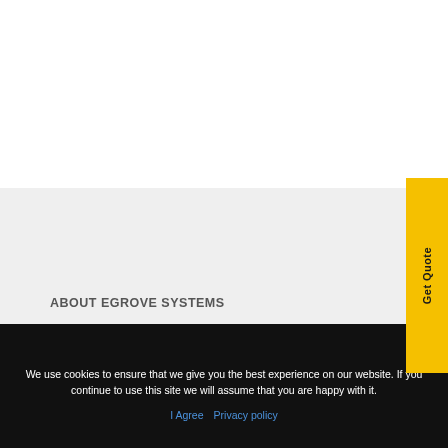ABOUT EGROVE SYSTEMS
We use cookies to ensure that we give you the best experience on our website. If you continue to use this site we will assume that you are happy with it.
I Agree  Privacy policy